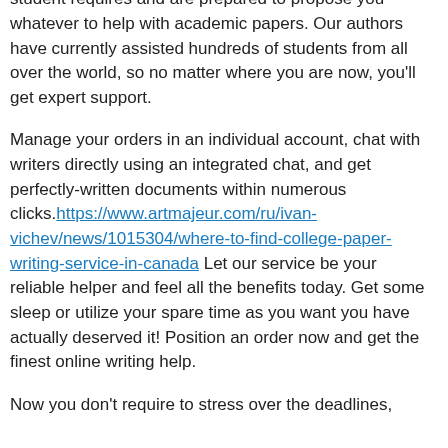Our cheap composing service works in the field of academic writing for many years. We know what the student requires and are prepared to propose you whatever to help with academic papers. Our authors have currently assisted hundreds of students from all over the world, so no matter where you are now, you'll get expert support.
Manage your orders in an individual account, chat with writers directly using an integrated chat, and get perfectly-written documents within numerous clicks. https://www.artmajeur.com/ru/ivan-vichev/news/1015304/where-to-find-college-paper-writing-service-in-canada Let our service be your reliable helper and feel all the benefits today. Get some sleep or utilize your spare time as you want you have actually deserved it! Position an order now and get the finest online writing help.
Now you don't require to stress over the deadlines,